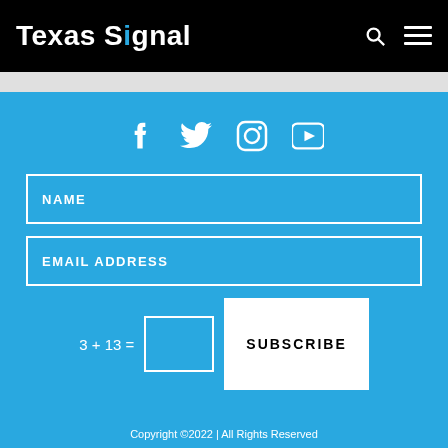Texas Signal
[Figure (other): Social media icons: Facebook, Twitter, Instagram, YouTube]
NAME
EMAIL ADDRESS
3 + 13 =
SUBSCRIBE
Copyright ©2022 | All Rights Reserved